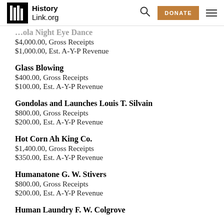HistoryLink.org — DONATE
[partial] ...ola Night Eye Dance
$4,000.00, Gross Receipts
$1,000.00, Est. A-Y-P Revenue
Glass Blowing
$400.00, Gross Receipts
$100.00, Est. A-Y-P Revenue
Gondolas and Launches Louis T. Silvain
$800.00, Gross Receipts
$200.00, Est. A-Y-P Revenue
Hot Corn Ah King Co.
$1,400.00, Gross Receipts
$350.00, Est. A-Y-P Revenue
Humanatone G. W. Stivers
$800.00, Gross Receipts
$200.00, Est. A-Y-P Revenue
Human Laundry F. W. Colgrove